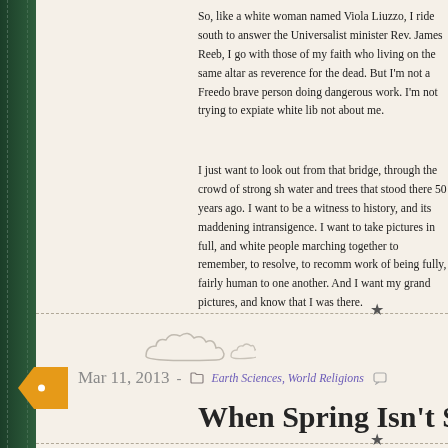So, like a white woman named Viola Liuzzo, I ride south to answer the Universalist minister Rev. James Reeb, I go with those of my faith who living on the same altar as reverence for the dead. But I'm not a Freedo brave person doing dangerous work. I'm not trying to expiate white lib not about me.
I just want to look out from that bridge, through the crowd of strong sh water and trees that stood there 50 years ago. I want to be a witness to history, and its maddening intransigence. I want to take pictures in full, and white people marching together to remember, to resolve, to recomm work of being fully, fairly human to one another. And I want my grand pictures, and know that I was there.
Mar 11, 2013 -  Earth Sciences, World Religions
When Spring Isn't Spring